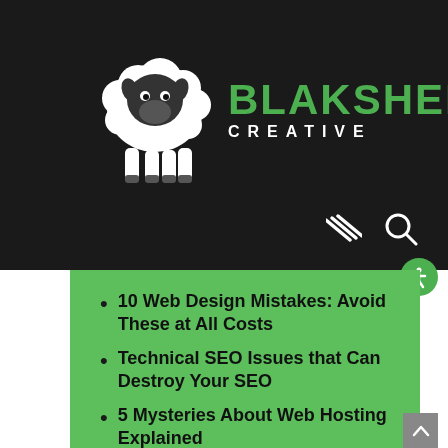[Figure (logo): BlakSheep Creative logo: white cartoon sheep on dark background with green BLAKSHEEP text and white CREATIVE subtitle]
10 Web Design Mistakes: Avoid These at All Costs
Technical SEO Issues that Can Destroy Your SEO
5 Mysteries About Web Hosting Explained